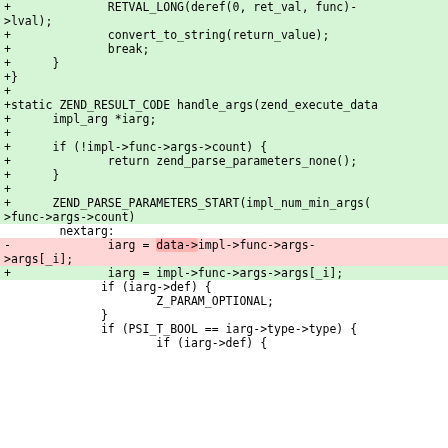Code diff showing changes to handle_args function and related code in a PHP extension source file
[Figure (screenshot): Code diff with green added lines and red removed lines showing PHP C extension code changes]